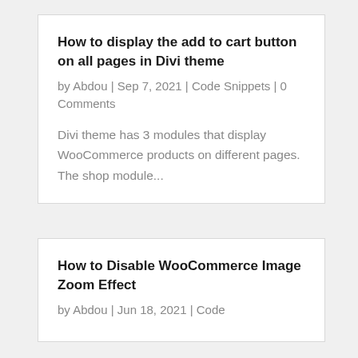How to display the add to cart button on all pages in Divi theme
by Abdou | Sep 7, 2021 | Code Snippets | 0 Comments
Divi theme has 3 modules that display WooCommerce products on different pages. The shop module...
How to Disable WooCommerce Image Zoom Effect
by Abdou | Jun 18, 2021 | Code